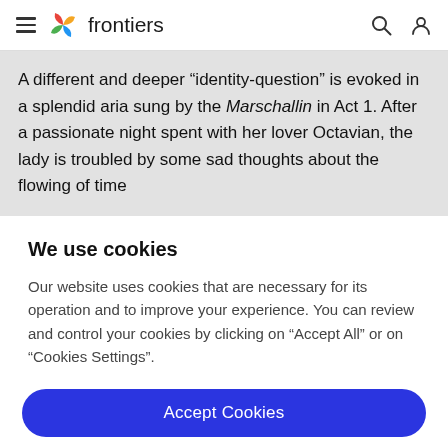frontiers
A different and deeper “identity-question” is evoked in a splendid aria sung by the Marschallin in Act 1. After a passionate night spent with her lover Octavian, the lady is troubled by some sad thoughts about the flowing of time
We use cookies
Our website uses cookies that are necessary for its operation and to improve your experience. You can review and control your cookies by clicking on “Accept All” or on “Cookies Settings”.
Accept Cookies
Cookies Settings